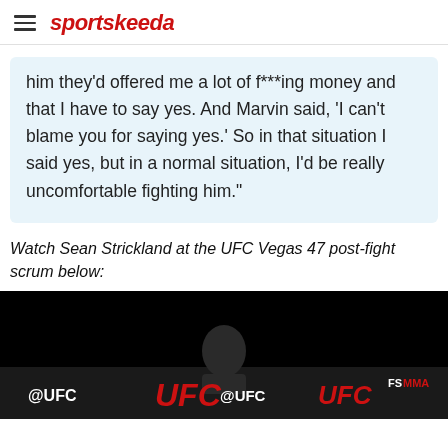sportskeeda
him they’d offered me a lot of f***ing money and that I have to say yes. And Marvin said, ‘I can’t blame you for saying yes.’ So in that situation I said yes, but in a normal situation, I’d be really uncomfortable fighting him.”
Watch Sean Strickland at the UFC Vegas 47 post-fight scrum below:
[Figure (screenshot): Video thumbnail showing UFC post-fight scrum with dark background, UFC logos, @UFC handles and FS MMA branding visible in a banner at the bottom]